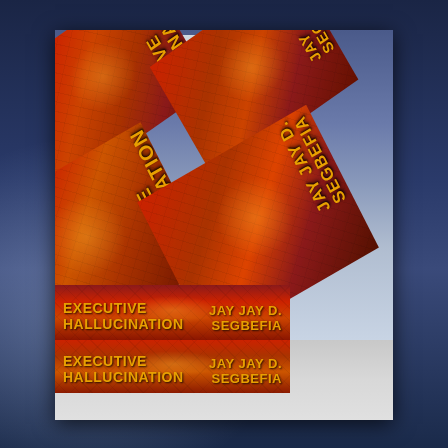[Figure (photo): Photograph of multiple copies of the book 'Executive Hallucination' by Jay Jay D. Segbefia. The books are stacked and fanned out on a white surface, showing both the front covers (angled, with red/orange cracked earth texture and bold gold lettering) and the bottom spines. The spines clearly read 'EXECUTIVE HALLUCINATION' on the left side and 'JAY JAY D. SEGBEFIA' on the right side in gold/yellow bold text on a red background. A laptop is partially visible in the background, along with a blue sky.]